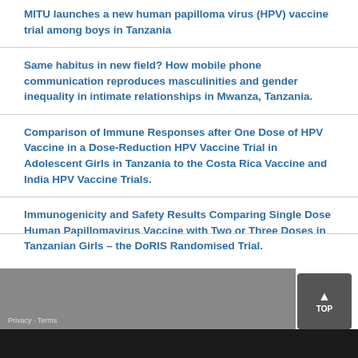MITU launches a new human papilloma virus (HPV) vaccine trial among boys in Tanzania
Same habitus in new field? How mobile phone communication reproduces masculinities and gender inequality in intimate relationships in Mwanza, Tanzania.
Comparison of Immune Responses after One Dose of HPV Vaccine in a Dose-Reduction HPV Vaccine Trial in Adolescent Girls in Tanzania to the Costa Rica Vaccine and India HPV Vaccine Trials.
Immunogenicity and Safety Results Comparing Single Dose Human Papillomavirus Vaccine with Two or Three Doses in Tanzanian Girls – the DoRIS Randomised Trial.